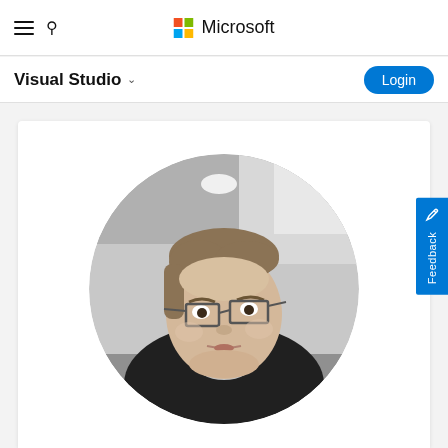Microsoft
Visual Studio
[Figure (photo): Circular cropped black-and-white profile photo of a person wearing glasses, looking at the camera, in an industrial/garage setting]
Feedback